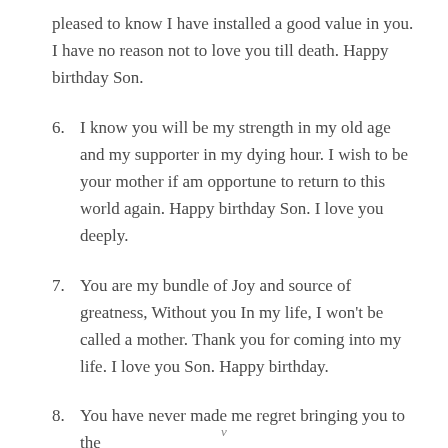pleased to know I have installed a good value in you. I have no reason not to love you till death. Happy birthday Son.
6. I know you will be my strength in my old age and my supporter in my dying hour. I wish to be your mother if am opportune to return to this world again. Happy birthday Son. I love you deeply.
7. You are my bundle of Joy and source of greatness, Without you In my life, I won't be called a mother. Thank you for coming into my life. I love you Son. Happy birthday.
8. You have never made me regret bringing you to the
v